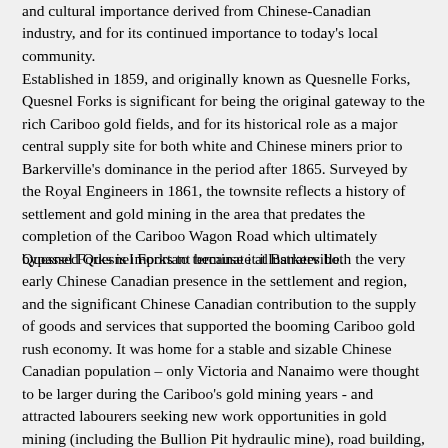and cultural importance derived from Chinese-Canadian industry, and for its continued importance to today's local community.
Established in 1859, and originally known as Quesnelle Forks, Quesnel Forks is significant for being the original gateway to the rich Cariboo gold fields, and for its historical role as a major central supply site for both white and Chinese miners prior to Barkerville's dominance in the period after 1865. Surveyed by the Royal Engineers in 1861, the townsite reflects a history of settlement and gold mining in the area that predates the completion of the Cariboo Wagon Road which ultimately bypassed Quesnel Forks to terminate at Barkerville.
Quesnel Forks is important because it illustrates both the very early Chinese Canadian presence in the settlement and region, and the significant Chinese Canadian contribution to the supply of goods and services that supported the booming Cariboo gold rush economy. It was home for a stable and sizable Chinese Canadian population – only Victoria and Nanaimo were thought to be larger during the Cariboo's gold mining years - and attracted labourers seeking new work opportunities in gold mining (including the Bullion Pit hydraulic mine), road building, dam construction and other occupations following their work on the Cariboo Wagon Road and the Canadian Pacific Railway.